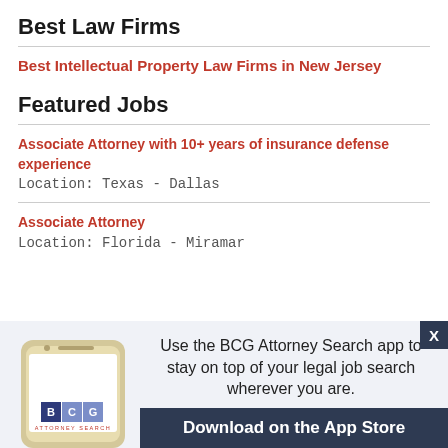Best Law Firms
Best Intellectual Property Law Firms in New Jersey
Featured Jobs
Associate Attorney with 10+ years of insurance defense experience
Location: Texas - Dallas
Associate Attorney
Location: Florida - Miramar
[Figure (screenshot): BCG Attorney Search mobile app advertisement banner showing a smartphone with BCG logo and text: Use the BCG Attorney Search app to stay on top of your legal job search wherever you are. Download on the App Store.]